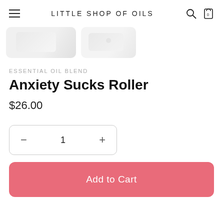LITTLE SHOP OF OILS
[Figure (photo): Two product images partially visible at top of page, light colored roller bottle products on white/grey background]
ESSENTIAL OIL BLEND
Anxiety Sucks Roller
$26.00
[Figure (other): Quantity selector showing minus button, 1, plus button inside a rounded rectangle border]
Add to Cart